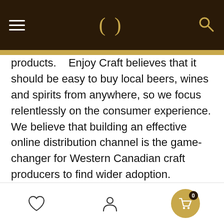[Figure (screenshot): Top navigation bar with dark brown background, hamburger menu icon on left, decorative parenthesis logo in center (gold), and search icon on right (gold)]
products.   Enjoy Craft believes that it should be easy to buy local beers, wines and spirits from anywhere, so we focus relentlessly on the consumer experience. We believe that building an effective online distribution channel is the game-changer for Western Canadian craft producers to find wider adoption.
For Consumers
A one-of-a-kind craft community
The Market is part of Enjoy Craft....a unique digital network of events, media and directories. The Market is the global online marketplace, where people come together to make
[Figure (screenshot): Bottom navigation bar with heart icon, person/account icon, and gold cart button with badge showing 0]